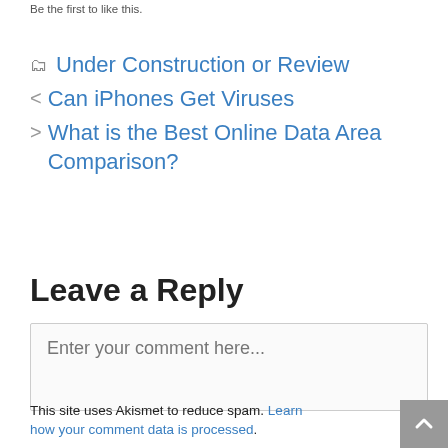Be the first to like this.
Under Construction or Review
< Can iPhones Get Viruses
> What is the Best Online Data Area Comparison?
Leave a Reply
Enter your comment here...
This site uses Akismet to reduce spam. Learn how your comment data is processed.